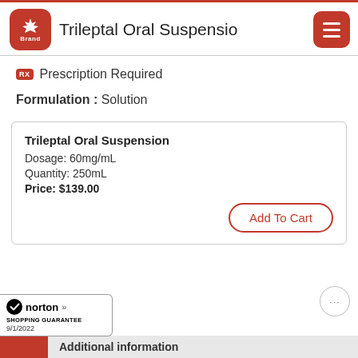Trileptal Oral Suspension
Prescription Required
Formulation : Solution
Trileptal Oral Suspension
Dosage: 60mg/mL
Quantity: 250mL
Price: $139.00
Add To Cart
[Figure (logo): Norton Shopping Guarantee badge with checkmark, date 9/1/2022]
Additional information